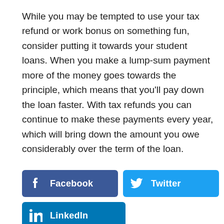While you may be tempted to use your tax refund or work bonus on something fun, consider putting it towards your student loans. When you make a lump-sum payment more of the money goes towards the principle, which means that you'll pay down the loan faster. With tax refunds you can continue to make these payments every year, which will bring down the amount you owe considerably over the term of the loan.
[Figure (other): Social sharing buttons: Facebook (dark blue), Twitter (light blue), LinkedIn (medium blue)]